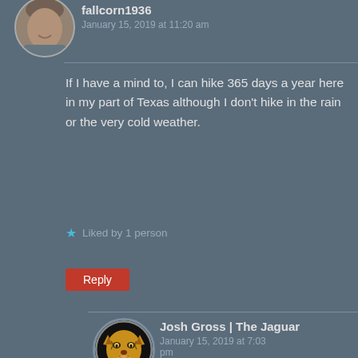[Figure (photo): Round avatar photo of a man's face, partially visible at top of page]
fallcorn1936
January 15, 2019 at 11:20 am
If I have a mind to, I can hike 365 days a year here in my part of Texas although I don't hike in the rain or the very cold weather.
★ Liked by 1 person
Reply
[Figure (logo): Round avatar with black background showing a golden jaguar face logo with grey border ring]
Josh Gross | The Jaguar
January 15, 2019 at 7:03 pm
That must be nice!
★ Like